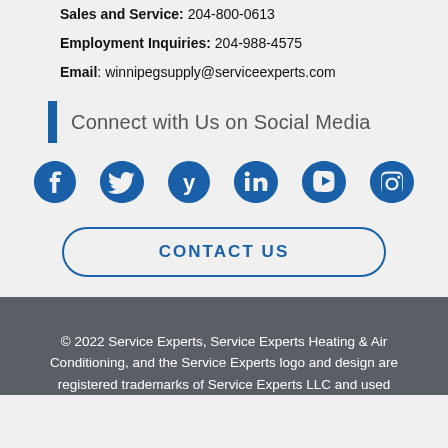Sales and Service: 204-800-0613
Employment Inquiries: 204-988-4575
Email: winnipegsupply@serviceexperts.com
Connect with Us on Social Media
[Figure (infographic): Six social media icons: Facebook, Twitter, Yelp, LinkedIn, YouTube, Instagram — all in blue]
CONTACT US
© 2022 Service Experts, Service Experts Heating & Air Conditioning, and the Service Experts logo and design are registered trademarks of Service Experts LLC and used